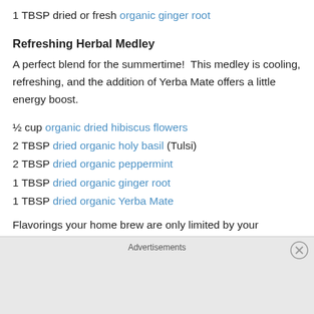1 TBSP dried or fresh organic ginger root
Refreshing Herbal Medley
A perfect blend for the summertime!  This medley is cooling, refreshing, and the addition of Yerba Mate offers a little energy boost.
½ cup organic dried hibiscus flowers
2 TBSP dried organic holy basil (Tulsi)
2 TBSP dried organic peppermint
1 TBSP dried organic ginger root
1 TBSP dried organic Yerba Mate
Flavorings your home brew are only limited by your
Advertisements